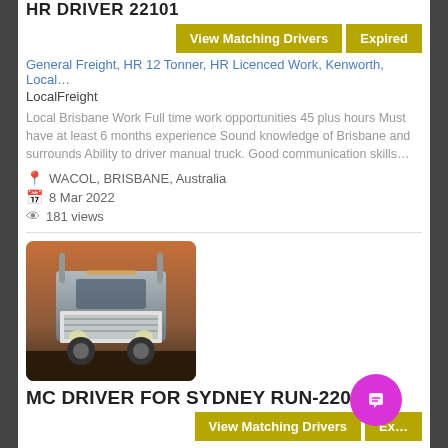HR DRIVER 22101
View Matching Drivers | Expired
General Freight, HR 12 Tonner, HR Licenced Work, Kenworth, Local...
LocalFreight
Local Brisbane Work Full time work opportunities 45 plus hours Must have at least 6 months experience Sound knowledge of Brisbane and surrounds Ability to driver manual truck. Good communication skills...
WACOL, BRISBANE, Australia
8 Mar 2022
181 views
[Figure (photo): Front view of a large heavy truck (Kenworth or similar) with chrome bull bar and grille, photographed outdoors at dusk or dawn.]
MC DRIVER FOR SYDNEY RUN-22092
View Matching Drivers | Expired
1800DRIVERS